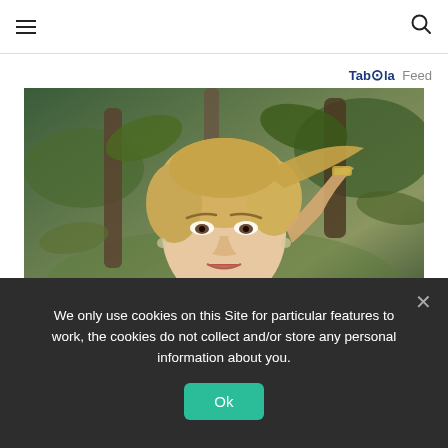Navigation bar with hamburger menu and search icon
Taboola Feed
[Figure (photo): Portrait photo of a blonde woman with short hair, hand raised to her head, wearing a bracelet, with green foliage background]
We only use cookies on this Site for particular features to work, the cookies do not collect and/or store any personal information about you.